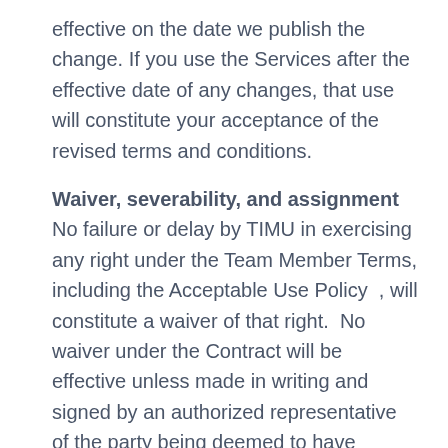effective on the date we publish the change. If you use the Services after the effective date of any changes, that use will constitute your acceptance of the revised terms and conditions.
Waiver, severability, and assignment
No failure or delay by TIMU in exercising any right under the Team Member Terms, including the Acceptable Use Policy , will constitute a waiver of that right.  No waiver under the Contract will be effective unless made in writing and signed by an authorized representative of the party being deemed to have granted the waiver.  If any provision of the Team Member Terms is held by a court of competent jurisdiction to be contrary to law, the provision will be modified by the court and interpreted so as best to accomplish the objectives of the original provision to the fullest extent permitted by law, and the remaining provisions of the Team Member Terms will remain in